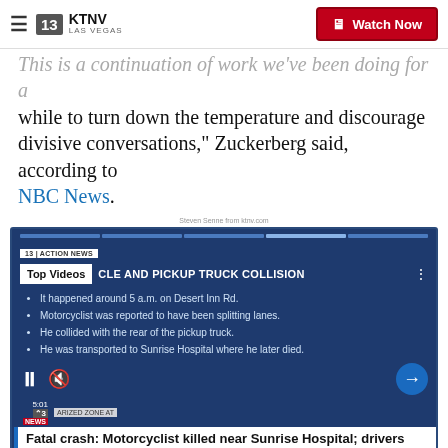KTNV LAS VEGAS — Watch Now
This is a continuation of work we've been doing for a while to turn down the temperature and discourage divisive conversations," Zuckerberg said, according to NBC News.
Steven Senne from ktnv.com
[Figure (screenshot): Video player screenshot showing KTNV Action News segment about a motorcycle and pickup truck collision. Top Videos badge visible. Bullet points: It happened around 5 a.m. on Desert Inn Rd. / Motorcyclist was reported to have been splitting lanes. / He collided with the rear of the pickup truck. / He was transported to Sunrise Hospital where he later died. Video controls (pause, mute) and next arrow button visible.]
Fatal crash: Motorcyclist killed near Sunrise Hospital; drivers asked to avoi…